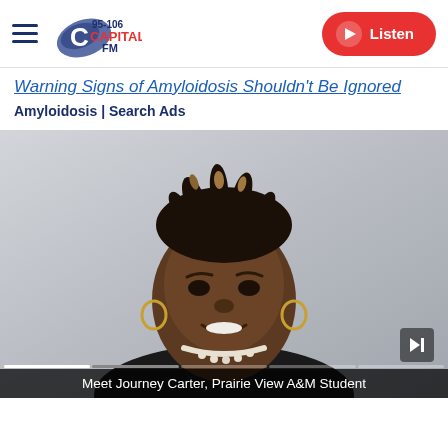Capital FM 95-106 | Listen
Warning Signs of Amyloidosis Shouldn't Be Ignored
Amyloidosis | Search Ads
[Figure (photo): Portrait photo of a young Black woman with dreadlocks styled up, smiling, wearing a black top and pearl necklace with gold hoop earrings]
Meet Journey Carter, Prairie View A&M Student